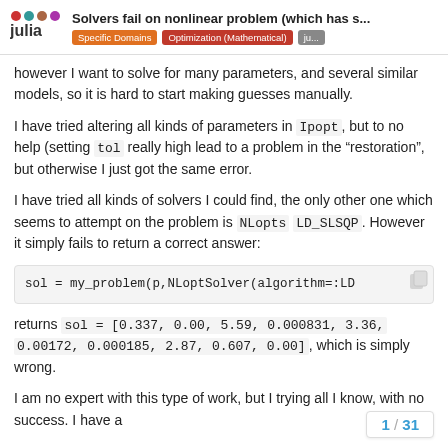Solvers fail on nonlinear problem (which has s... | Specific Domains | Optimization (Mathematical) | ju...
however I want to solve for many parameters, and several similar models, so it is hard to start making guesses manually.
I have tried altering all kinds of parameters in Ipopt, but to no help (setting tol really high lead to a problem in the “restoration”, but otherwise I just got the same error.
I have tried all kinds of solvers I could find, the only other one which seems to attempt on the problem is NLopts LD_SLSQP. However it simply fails to return a correct answer:
[Figure (screenshot): Code block showing: sol = my_problem(p,NLoptSolver(algorithm=:LD_...]
returns sol = [0.337, 0.00, 5.59, 0.000831, 3.36, 0.00172, 0.000185, 2.87, 0.607, 0.00], which is simply wrong.
I am no expert with this type of work, but I trying all I know, with no success. I have a
1 / 31